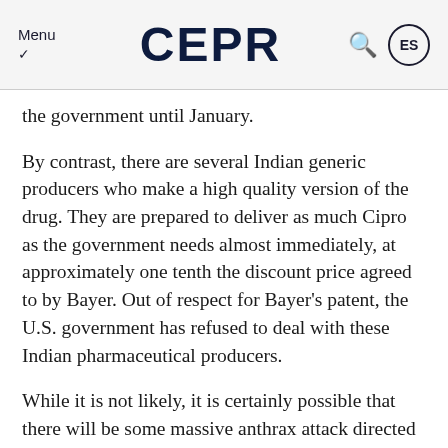Menu CEPR ES
the government until January.
By contrast, there are several Indian generic producers who make a high quality version of the drug. They are prepared to deliver as much Cipro as the government needs almost immediately, at approximately one tenth the discount price agreed to by Bayer. Out of respect for Bayer's patent, the U.S. government has refused to deal with these Indian pharmaceutical producers.
While it is not likely, it is certainly possible that there will be some massive anthrax attack directed against a major city at any time. If the country lacks the necessary stockpiles of drugs, then we could see hundreds or even thousands of unnecessary deaths.